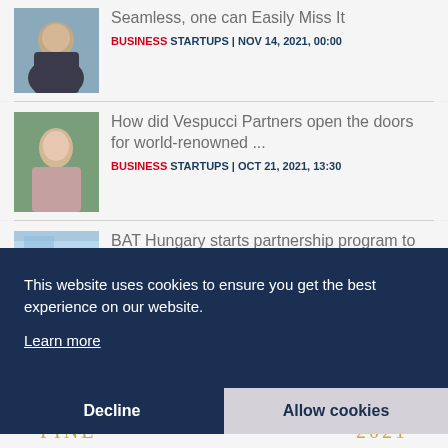[Figure (photo): Headshot of a bald smiling man in dark shirt]
Seamless, one can Easily Miss It
BUSINESS STARTUPS | NOV 14, 2021, 00:00
[Figure (photo): Portrait of a young woman with dark hair]
How did Vespucci Partners open the doors for world-renowned ...
BUSINESS STARTUPS | OCT 21, 2021, 13:30
[Figure (photo): BAT logo on building exterior]
BAT Hungary starts partnership program to
This website uses cookies to ensure you get the best experience on our website.
Learn more
Decline
Allow cookies
FINE
2021